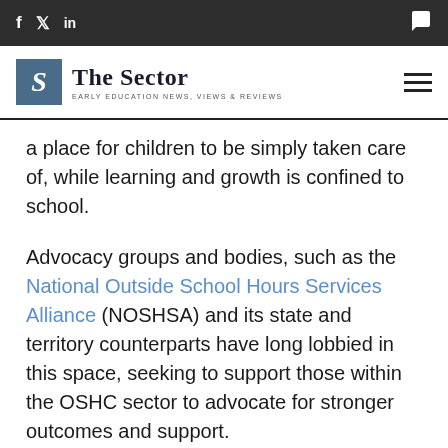f  y  in  [chat icon]
The Sector — EARLY EDUCATION NEWS, VIEWS & REVIEWS
a place for children to be simply taken care of, while learning and growth is confined to school.
Advocacy groups and bodies, such as the National Outside School Hours Services Alliance (NOSHSA) and its state and territory counterparts have long lobbied in this space, seeking to support those within the OSHC sector to advocate for stronger outcomes and support.